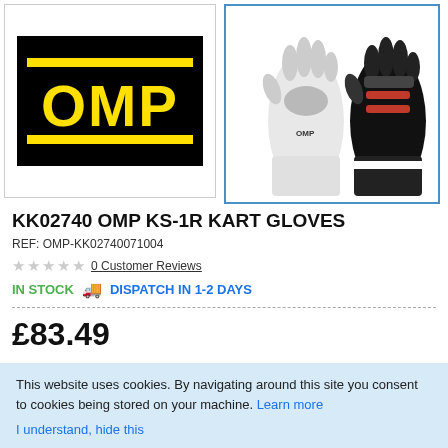[Figure (logo): OMP brand logo — yellow OMP text on black background with yellow horizontal bars above and below]
[Figure (photo): OMP KS-1R Kart Gloves product photo showing two gloves (front and back view), black, white and red coloring]
KK02740 OMP KS-1R KART GLOVES
REF: OMP-KK02740071004
0 Customer Reviews
IN STOCK   DISPATCH IN 1-2 DAYS
£83.49
This website uses cookies. By navigating around this site you consent to cookies being stored on your machine. Learn more
I understand, hide this